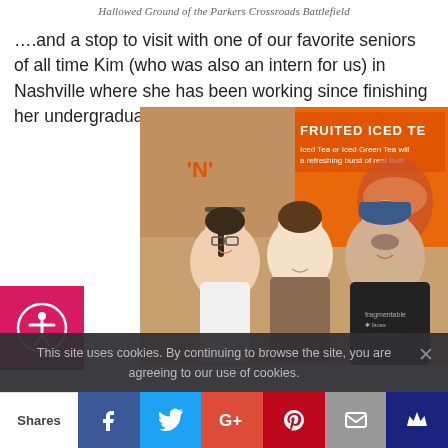Hallowed Ground of the Parkers Crossroads Battlefield
….and a stop to visit with one of our favorite seniors of all time Kim (who was also an intern for us) in Nashville where she has been working since finishing her undergraduate studies at Vanderbilt!
[Figure (photo): Three people smiling at a Dunkin' Donuts, with a 'Fruited Iced Tea' advertisement in the background. Two women and one man wearing a 'Fragmentable Faces Photography' shirt and a blue cap.]
This site uses cookies. By continuing to browse the site, you are agreeing to our use of cookies.